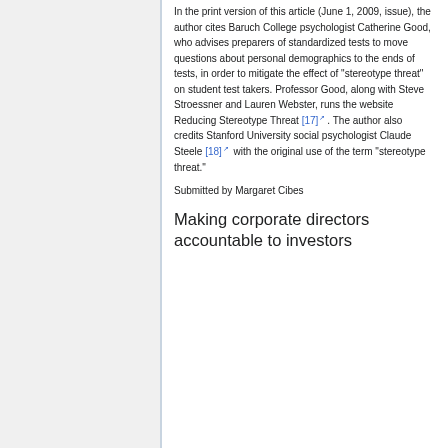In the print version of this article (June 1, 2009, issue), the author cites Baruch College psychologist Catherine Good, who advises preparers of standardized tests to move questions about personal demographics to the ends of tests, in order to mitigate the effect of "stereotype threat" on student test takers. Professor Good, along with Steve Stroessner and Lauren Webster, runs the website Reducing Stereotype Threat [17]. The author also credits Stanford University social psychologist Claude Steele [18] with the original use of the term "stereotype threat."
Submitted by Margaret Cibes
Making corporate directors accountable to investors